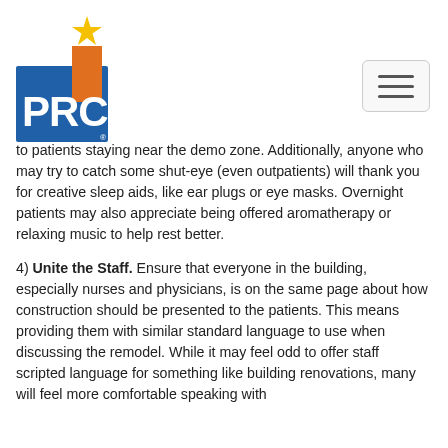[Figure (logo): PRC logo with blue letters P, R, C, orange block tower, and gold star on top]
to patients staying near the demo zone. Additionally, anyone who may try to catch some shut-eye (even outpatients) will thank you for creative sleep aids, like ear plugs or eye masks. Overnight patients may also appreciate being offered aromatherapy or relaxing music to help rest better.
4) Unite the Staff. Ensure that everyone in the building, especially nurses and physicians, is on the same page about how construction should be presented to the patients. This means providing them with similar standard language to use when discussing the remodel. While it may feel odd to offer staff scripted language for something like building renovations, many will feel more comfortable speaking with